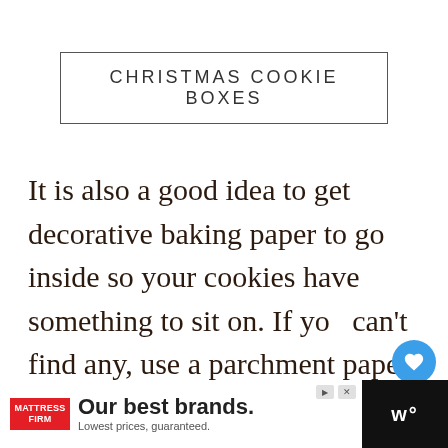CHRISTMAS COOKIE BOXES
It is also a good idea to get decorative baking paper to go inside so your cookies have something to sit on. If you can't find any, use a parchment paper instead.
[Figure (screenshot): Web UI overlay with heart/save button (13 saves) and share button]
[Figure (screenshot): What's Next panel showing 'The Best Faux Greenery for...']
[Figure (screenshot): Advertisement banner: Mattress Firm - Our best brands. Lowest prices, guaranteed.]